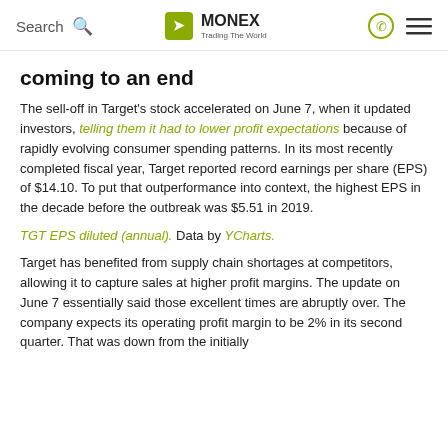Search | MONEX Trading The World
coming to an end
The sell-off in Target's stock accelerated on June 7, when it updated investors, telling them it had to lower profit expectations because of rapidly evolving consumer spending patterns. In its most recently completed fiscal year, Target reported record earnings per share (EPS) of $14.10. To put that outperformance into context, the highest EPS in the decade before the outbreak was $5.51 in 2019.
TGT EPS diluted (annual). Data by YCharts.
Target has benefited from supply chain shortages at competitors, allowing it to capture sales at higher profit margins. The update on June 7 essentially said those excellent times are abruptly over. The company expects its operating profit margin to be 2% in its second quarter. That was down from the initially